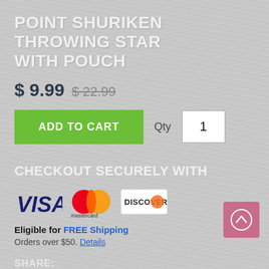POINT SHURIKEN THROWING STAR WITH POUCH
$ 9.99  $ 22.99
ADD TO CART  Qty 1
CHECKOUT SECURELY WITH
[Figure (logo): VISA, Mastercard, Discover payment logos]
Eligible for FREE Shipping
Orders over $50. Details
SHARE:
[Figure (infographic): Social share buttons: Facebook, Twitter, Pinterest, Email, Google+, more]